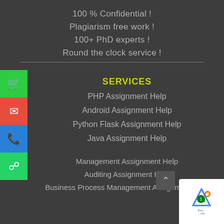100 % Confidential !
Plagiarism free work !
100+ PhD experts !
Round the clock service !
SERVICES
PHP Assignment Help
Android Assignment Help
Python Flask Assignment Help
Java Assignment Help
Management Assignment Help
Auditing Assignment Help
Business Process Management Assignment Help